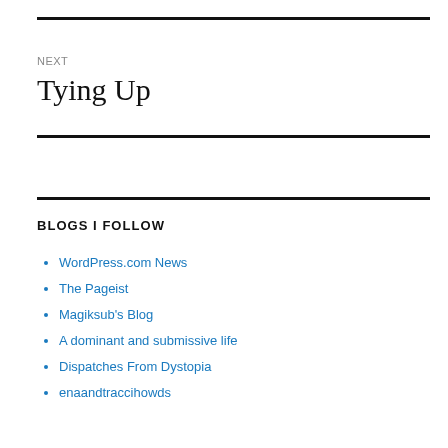NEXT
Tying Up
BLOGS I FOLLOW
WordPress.com News
The Pageist
Magiksub's Blog
A dominant and submissive life
Dispatches From Dystopia
enaandtraccihowds